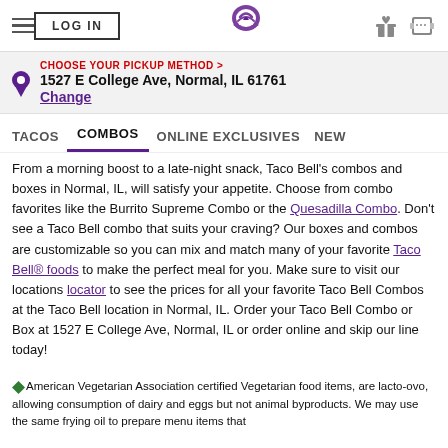LOG IN | Taco Bell logo | gift icon | coupon icon
CHOOSE YOUR PICKUP METHOD › 1527 E College Ave, Normal, IL 61761 Change
TACOS   COMBOS   ONLINE EXCLUSIVES   NEW
From a morning boost to a late-night snack, Taco Bell's combos and boxes in Normal, IL, will satisfy your appetite. Choose from combo favorites like the Burrito Supreme Combo or the Quesadilla Combo. Don't see a Taco Bell combo that suits your craving? Our boxes and combos are customizable so you can mix and match many of your favorite Taco Bell® foods to make the perfect meal for you. Make sure to visit our locations locator to see the prices for all your favorite Taco Bell Combos at the Taco Bell location in Normal, IL. Order your Taco Bell Combo or Box at 1527 E College Ave, Normal, IL or order online and skip our line today!
◆American Vegetarian Association certified Vegetarian food items, are lacto-ovo, allowing consumption of dairy and eggs but not animal byproducts. We may use the same frying oil to prepare menu items that